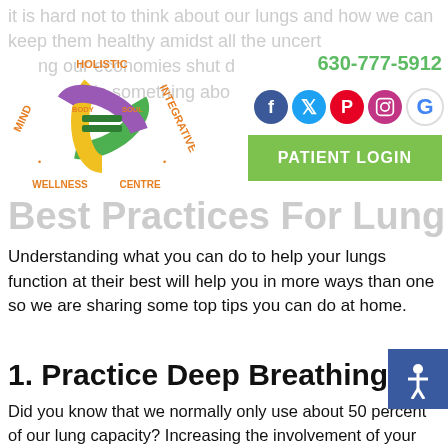it is hard not to think about our lungs and how we can keep them healthy amidst all the uncertainty surrounding our economies shutting d... there is something about...
[Figure (logo): Holistic Integrative Mind Body Soul Wellness Centre circular logo with green, yellow, and purple colors]
630-777-5912
[Figure (infographic): Social media icons: Facebook, Twitter, Pinterest, Instagram, Google]
[Figure (other): PATIENT LOGIN green button]
Best Practices For Lung Health
Understanding what you can do to help your lungs function at their best will help you in more ways than one so we are sharing some top tips you can do at home.
1. Practice Deep Breathing
Did you know that we normally only use about 50 percent of our lung capacity? Increasing the involvement of your entire lungs can help keep them healthy.